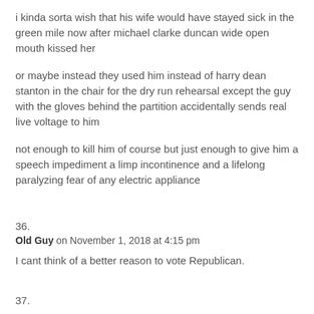i kinda sorta wish that his wife would have stayed sick in the green mile now after michael clarke duncan wide open mouth kissed her
or maybe instead they used him instead of harry dean stanton in the chair for the dry run rehearsal except the guy with the gloves behind the partition accidentally sends real live voltage to him
not enough to kill him of course but just enough to give him a speech impediment a limp incontinence and a lifelong paralyzing fear of any electric appliance
36.
Old Guy on November 1, 2018 at 4:15 pm
I cant think of a better reason to vote Republican.
37.